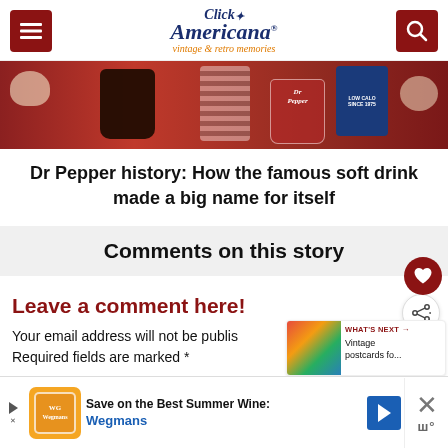Click Americana® vintage & retro memories
[Figure (photo): Cropped bottom portion of a photo showing Dr Pepper branded glass and dark beverage items on a reddish-brown surface]
Dr Pepper history: How the famous soft drink made a big name for itself
Comments on this story
Leave a comment here!
Your email address will not be published. Required fields are marked *
[Figure (photo): What's Next widget showing thumbnail of vintage postcards article]
[Figure (screenshot): Advertisement banner: Save on the Best Summer Wines - Wegmans]